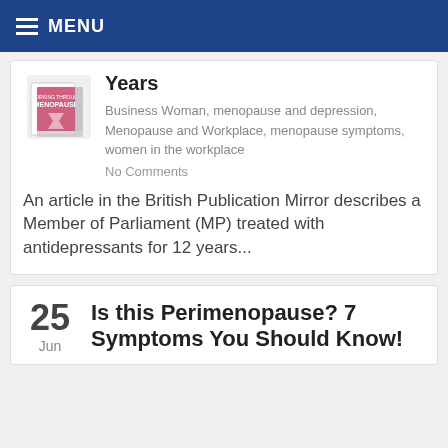MENU
[Figure (photo): Book cover of 'Working Through Menopause']
Years
Business Woman, menopause and depression, Menopause and Workplace, menopause symptoms, women in the workplace
No Comments
An article in the British Publication Mirror describes a Member of Parliament (MP) treated with antidepressants for 12 years...
25 Jun
Is this Perimenopause? 7 Symptoms You Should Know!